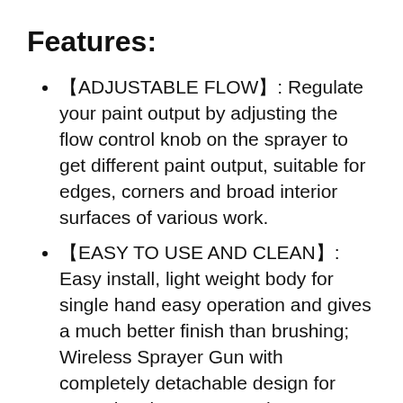Features:
【ADJUSTABLE FLOW】: Regulate your paint output by adjusting the flow control knob on the sprayer to get different paint output, suitable for edges, corners and broad interior surfaces of various work.
【EASY TO USE AND CLEAN】: Easy install, light weight body for single hand easy operation and gives a much better finish than brushing; Wireless Sprayer Gun with completely detachable design for easy cleaning. Remove the motor parts and battery after use, then you can soak them in water to clean. Please do...